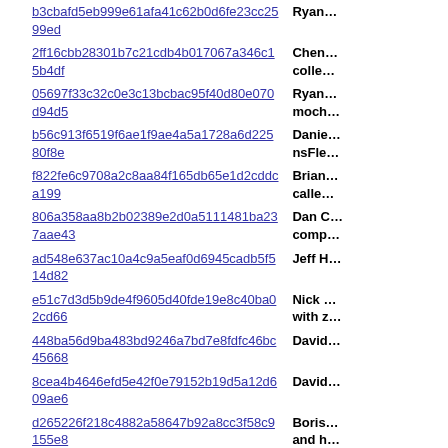| Hash | Description |
| --- | --- |
| b3cbafd5eb999e61afa41c62b0d6fe23cc2599ed | Ryan… |
| 2ff16cbb28301b7c21cdb4b017067a346c15b4df | Chen… colle… |
| 05697f33c32c0e3c13bcbac95f40d80e070d94d5 | Ryan… moch… |
| b56c913f6519f6ae1f9ae4a5a1728a6d22580f8e | Danie… nsFle… |
| f822fe6c9708a2c8aa84f165db65e1d2cddca199 | Brian… calle… |
| 806a358aa8b2b02389e2d0a5111481ba237aae43 | Dan C… comp… |
| ad548e637ac10a4c9a5eaf0d6945cadb5f514d82 | Jeff H… |
| e51c7d3d5b9de4f9605d40fde19e8c40ba02cd66 | Nick … with z… |
| 448ba56d9ba483bd9246a7bd7e8fdfc46bc45668 | David… |
| 8cea4b4646efd5e42f0e79152b19d5a12d609ae6 | David… |
| d265226f218c4882a58647b92a8cc3f58c9155e8 | Boris… and h… |
| cc2e2aff62064a3220ca377fc279f6ce237ede1a | Dan C… 64-bit… |
| 0b124ffdeaf8d925afd2bec260ba5e754a3e058f | Andre… calle… |
| 1b63312924bae76c548a4b80e8627f963ec7c7ec | Danie… nsWe… |
| ce7085b63b2b1a50ccfc87c42ba4dfe2c325507d | Bobb… Roote… |
| dd4b059747b807dbc6a2fcb005709291e4da3177 | Bobb… |